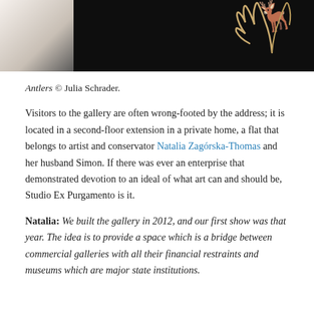[Figure (photo): Top portion of a photograph showing antlers against a dark/black background, with a lighter area on the left suggesting a white surface or frame.]
Antlers © Julia Schrader.
Visitors to the gallery are often wrong-footed by the address; it is located in a second-floor extension in a private home, a flat that belongs to artist and conservator Natalia Zagórska-Thomas and her husband Simon. If there was ever an enterprise that demonstrated devotion to an ideal of what art can and should be, Studio Ex Purgamento is it.
Natalia: We built the gallery in 2012, and our first show was that year. The idea is to provide a space which is a bridge between commercial galleries with all their financial restraints and museums which are major state institutions.